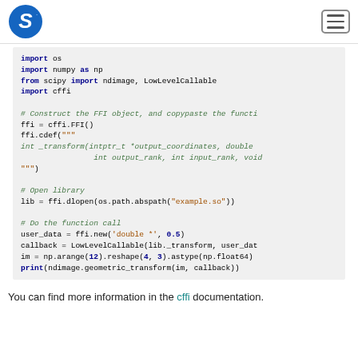Scipy logo and navigation
import os
import numpy as np
from scipy import ndimage, LowLevelCallable
import cffi

# Construct the FFI object, and copypaste the functi
ffi = cffi.FFI()
ffi.cdef("""
int _transform(intptr_t *output_coordinates, double
               int output_rank, int input_rank, void
""")

# Open library
lib = ffi.dlopen(os.path.abspath("example.so"))

# Do the function call
user_data = ffi.new('double *', 0.5)
callback = LowLevelCallable(lib._transform, user_dat
im = np.arange(12).reshape(4, 3).astype(np.float64)
print(ndimage.geometric_transform(im, callback))
You can find more information in the cffi documentation.